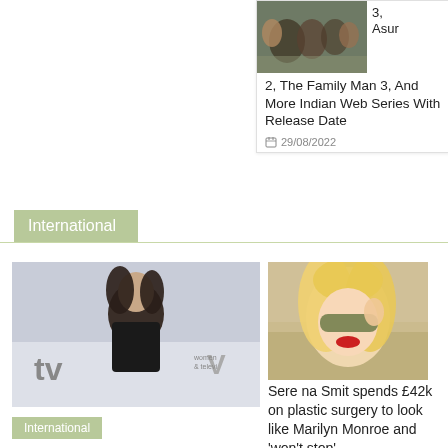[Figure (photo): Movie/web series promotional image with group of people]
3, Asur 2, The Family Man 3, And More Indian Web Series With Release Date
29/08/2022
International
[Figure (photo): Woman with dark hair smiling at a TV/Women & Television event]
International
HUGE
[Figure (photo): Blonde woman with red lips posing for a selfie]
Serena Smit spends £42k on plastic surgery to look like Marilyn Monroe and 'won't stop'